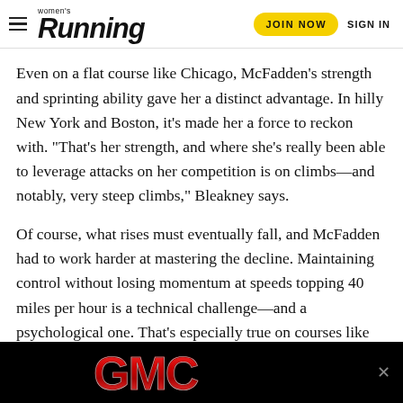women's Running | JOIN NOW | SIGN IN
Even on a flat course like Chicago, McFadden’s strength and sprinting ability gave her a distinct advantage. In hilly New York and Boston, it’s made her a force to reckon with. “That’s her strength, and where she’s really been able to leverage attacks on her competition is on climbs—and notably, very steep climbs,” Bleakney says.
Of course, what rises must eventually fall, and McFadden had to work harder at mastering the decline. Maintaining control without losing momentum at speeds topping 40 miles per hour is a technical challenge—and a psychological one. That’s especially true on courses like New York, where wheels can catch on bridge joints and many downhills are followed immediately by sharp turns.
[Figure (logo): GMC advertisement banner with red GMC letters on black background]